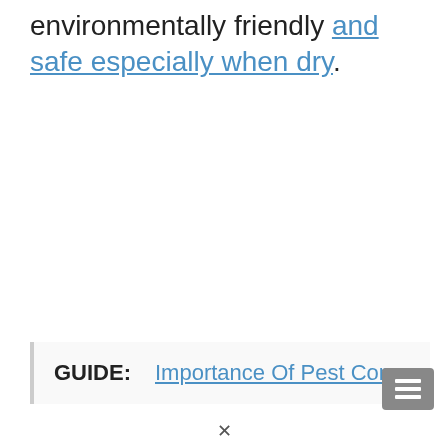environmentally friendly and safe especially when dry.
GUIDE: Importance Of Pest Control